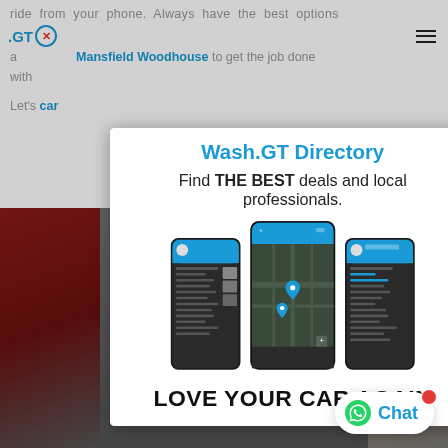ride from your phone. Always have the best options available in Mansfield Woodhouse to get the job done with
Wash.GT Directory
Find THE BEST deals and local professionals.
[Figure (screenshot): Three smartphones showing the Wash.GT app interface: left phone shows a menu/list screen, center phone shows a map with location pins, right phone shows another menu/list screen. All phones have blue header bars.]
LOVE YOUR CAR AGAIN
Let's ... your car
[Figure (screenshot): Chat button with WhatsApp-style icon and text 'Chat' in blue, with a red notification dot]